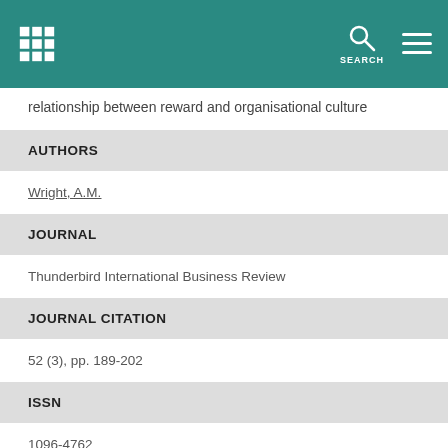SEARCH
relationship between reward and organisational culture
AUTHORS
Wright, A.M.
JOURNAL
Thunderbird International Business Review
JOURNAL CITATION
52 (3), pp. 189-202
ISSN
1096-4762
YEAR